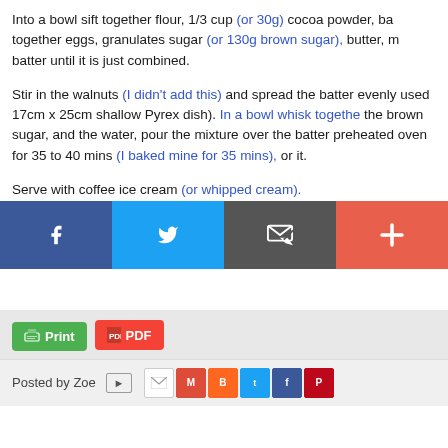Into a bowl sift together flour, 1/3 cup (or 30g) cocoa powder, ba together eggs, granulates sugar (or 130g brown sugar), butter, m batter until it is just combined.
Stir in the walnuts (I didn't add this) and spread the batter evenl used 17cm x 25cm shallow Pyrex dish). In a bowl whisk togethe the brown sugar, and the water, pour the mixture over the batter preheated oven for 35 to 40 mins (I baked mine for 35 mins), or it.
Serve with coffee ice cream (or whipped cream).
Happy Baking
Please support me and like me at Facebook...
[Figure (other): Print and PDF buttons and Posted by Zoe with social share icons (email, Gmail, Blogger, Twitter, Facebook, Pinterest)]
[Figure (other): Bottom social sharing bar with Facebook, Twitter, Email/envelope, and Plus buttons]